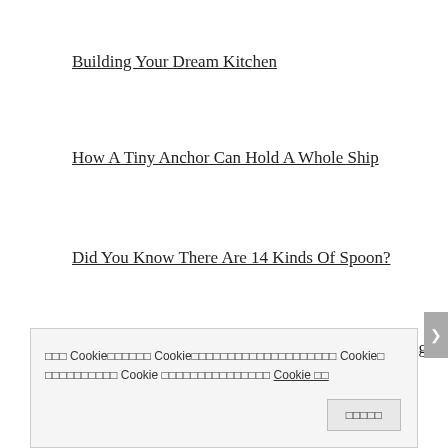Building Your Dream Kitchen
How A Tiny Anchor Can Hold A Whole Ship
Did You Know There Are 14 Kinds Of Spoon?
How To Make A Statement At Business Networking Events
-- ....... .. . ..... .. ... .... . ..----- .. ...---
□□□ Cookie□□□□□□ Cookie□□□□□□□□□□□□□□□□□□□□ Cookie□ □□□□□□□□□□ Cookie □□□□□□□□□□□□□□□ Cookie □□